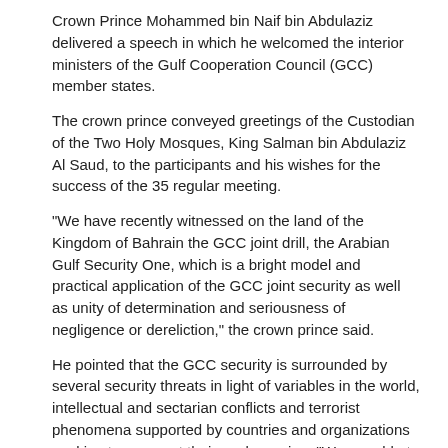Crown Prince Mohammed bin Naif bin Abdulaziz delivered a speech in which he welcomed the interior ministers of the Gulf Cooperation Council (GCC) member states.
The crown prince conveyed greetings of the Custodian of the Two Holy Mosques, King Salman bin Abdulaziz Al Saud, to the participants and his wishes for the success of the 35 regular meeting.
"We have recently witnessed on the land of the Kingdom of Bahrain the GCC joint drill, the Arabian Gulf Security One, which is a bright model and practical application of the GCC joint security as well as unity of determination and seriousness of negligence or dereliction," the crown prince said.
He pointed that the GCC security is surrounded by several security threats in light of variables in the world, intellectual and sectarian conflicts and terrorist phenomena supported by countries and organizations seeking to carry out their goals, saying, "We are able to fend off these risks and maintain the security of our countries and peoples."
The crown prince expressed importance of concerted efforts in accordance with a comprehensive security vision and professional strategy to maintain the GCC joint security and deter any aggressor.
Then, GCC Secretary General Dr. Abdullatif bin Rashid Al-Zayani delivered a speech in which he stressed importance of enhancing the GCC security action among the GCC states.